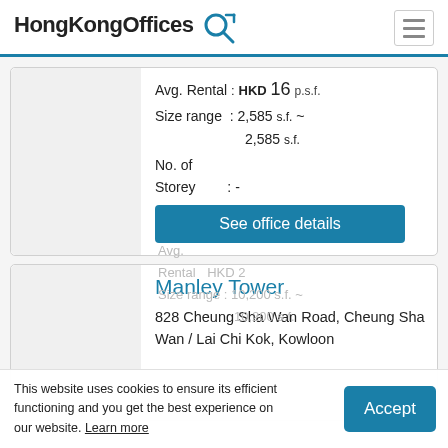HongKongOffices
Avg. Rental : HKD 16 p.s.f.
Size range : 2,585 s.f. ~ 2,585 s.f.
No. of Storey : -
See office details
Manley Tower
828 Cheung Sha Wan Road, Cheung Sha Wan / Lai Chi Kok, Kowloon
Avg. Rental : HKD 2[...] Size range : 10,200 s.f. ~ 10,200 s.f.
This website uses cookies to ensure its efficient functioning and you get the best experience on our website. Learn more
Accept